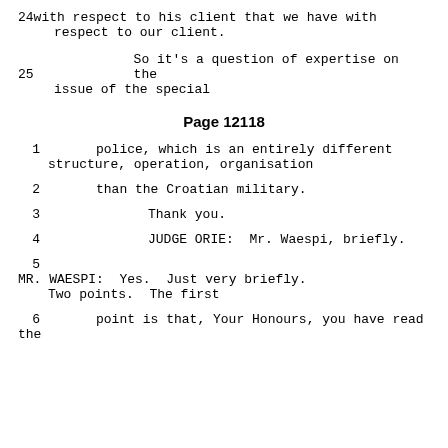24      with respect to his client that we have with respect to our client.
25              So it's a question of expertise on the issue of the special
Page 12118
1       police, which is an entirely different structure, operation, organisation
2       than the Croatian military.
3               Thank you.
4               JUDGE ORIE:  Mr. Waespi, briefly.
5               MR. WAESPI:  Yes.  Just very briefly. Two points.  The first
6       point is that, Your Honours, you have read the